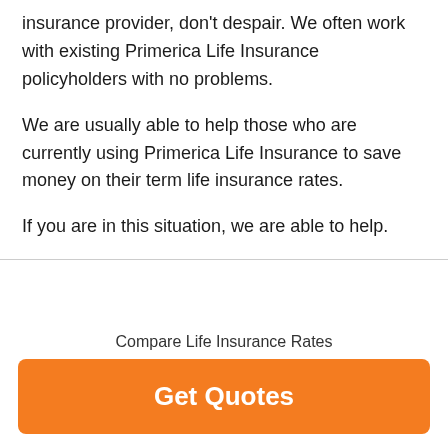insurance provider, don't despair. We often work with existing Primerica Life Insurance policyholders with no problems.
We are usually able to help those who are currently using Primerica Life Insurance to save money on their term life insurance rates.
If you are in this situation, we are able to help.
Compare Life Insurance Rates
Get Quotes